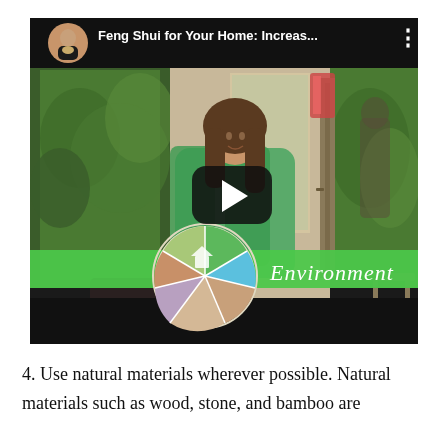[Figure (screenshot): YouTube video thumbnail showing a woman in a green top standing in a home interior. The video title reads 'Feng Shui for Your Home: Increas...' with a circular avatar in the top left corner. A play button overlay is centered on the video. A green banner across the lower portion shows a pie/wheel chart with colored segments and the word 'Environment' in white cursive text.]
4. Use natural materials wherever possible. Natural materials such as wood, stone, and bamboo are